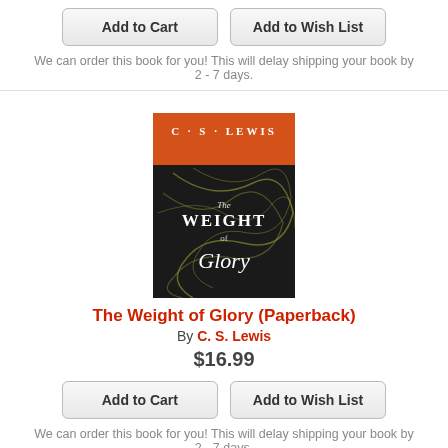Add to Cart | Add to Wish List
We can order this book for you! This will delay shipping your book by 2 - 7 days.
[Figure (illustration): Book cover of 'The Weight of Glory' by C.S. Lewis — orange top with author name, black background with decorative swirling lines and the title text in white serif font.]
The Weight of Glory (Paperback)
By C. S. Lewis
$16.99
Add to Cart | Add to Wish List
We can order this book for you! This will delay shipping your book by 2 - 7 days.
[Figure (illustration): Book cover of 'A Calendar of Wisdom' partially visible at bottom of page.]